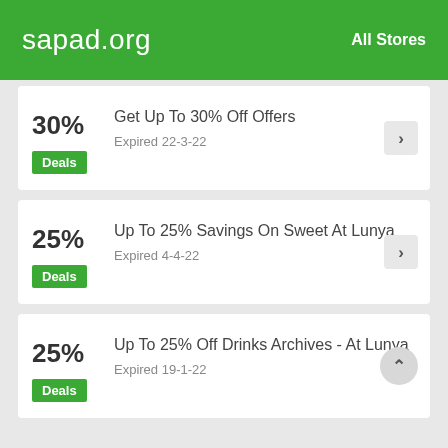sapad.org   All Stores
30%
Deals
Get Up To 30% Off Offers
Expired 22-3-22
25%
Deals
Up To 25% Savings On Sweet At Lunya
Expired 4-4-22
25%
Deals
Up To 25% Off Drinks Archives - At Lunya
Expired 19-1-22